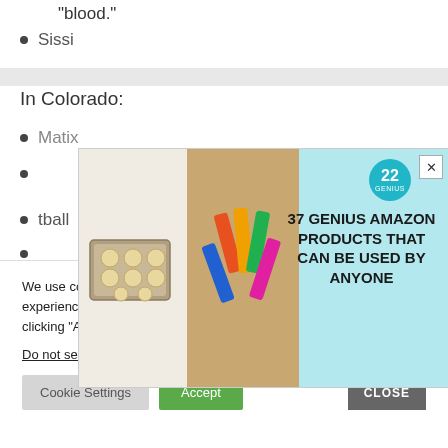“blood.”
Sissi
In Colorado:
Matix
tball
[Figure (infographic): Advertisement overlay: 37 Genius Amazon Products That Can Be Used By Anyone, featuring images of cookies on a baking tray and lip balm products, with a teal background and a badge showing '22']
We use cookies on our website to give you the most relevant experience by remembering your preferences and repeat visits. By clicking “Accept”, you consent to the use of ALL the cookies.
Do not sell my personal information.
Cookie Settings   Accept   CLOSE